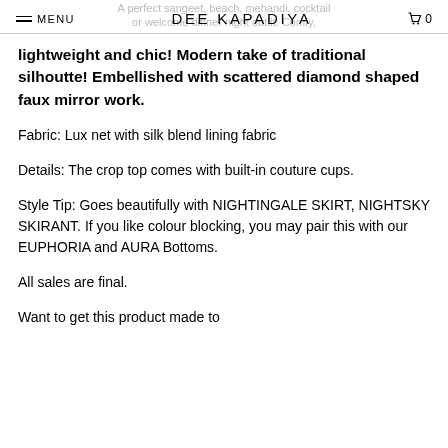MENU | DEE KAPADIYA | 0
A perfect sangeet, beach, mehandi, cocktail or welcome dinner night outfit. Comfy, lightweight and chic! Modern take of traditional silhoutte! Embellished with scattered diamond shaped faux mirror work.
Fabric: Lux net with silk blend lining fabric
Details: The crop top comes with built-in couture cups.
Style Tip: Goes beautifully with NIGHTINGALE SKIRT, NIGHTSKY SKIRANT. If you like colour blocking, you may pair this with our EUPHORIA and AURA Bottoms.
All sales are final.
Want to get this product made to